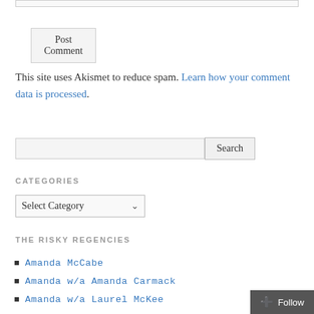Post Comment
This site uses Akismet to reduce spam. Learn how your comment data is processed.
Search
CATEGORIES
Select Category
THE RISKY REGENCIES
Amanda McCabe
Amanda w/a Amanda Carmack
Amanda w/a Laurel McKee
Carolyn Jewel
Diane Gaston
Elena Greene
Gail Eastwood
Isobel Carr